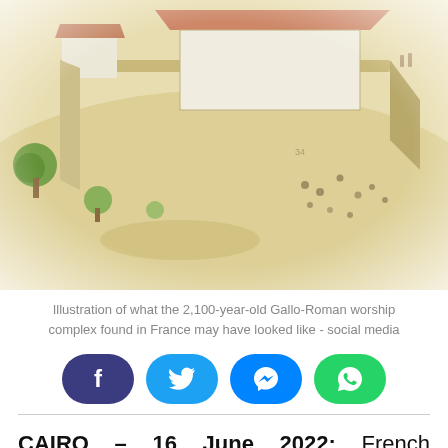[Figure (illustration): Illustration of a 2,100-year-old Gallo-Roman worship complex — aerial/perspective watercolor-style drawing showing stone walls, buildings with white walls and a tiled roof, trees, and animals on an open sandy ground.]
Illustration of what the 2,100-year-old Gallo-Roman worship complex found in France may have looked like - social media
[Figure (other): Social media share buttons: Facebook (dark blue), Twitter (light blue), Messenger (blue), WhatsApp (green)]
CAIRO – 16 June 2022: French archaeologists found the long-lost remains of the 2,100-year-old Gallo-Roman worship complex in Rennes, Brittany (northwestern France) on a